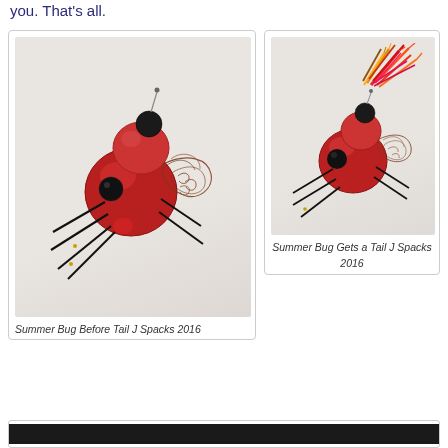you. That's all.
[Figure (photo): Sculptural bug artwork made from red glass beads and dark wire legs with decorative filigree wings, viewed from side. Titled 'Summer Bug Before Tail J Spacks 2016'.]
Summer Bug Before Tail J Spacks 2016
[Figure (photo): Sculptural bug artwork made from red glass beads and dark wire legs with colorful feather tail plume, viewed from side. Titled 'Summer Bug Gets a Tail J Spacks 2016'.]
Summer Bug Gets a Tail J Spacks 2016